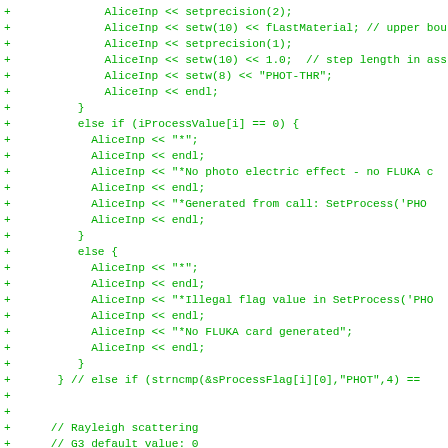[Figure (screenshot): Diff/patch view of C++ source code showing added lines (marked with +) in green monospace font on white background. Code involves AliceInp stream operations, conditional branches for iProcessValue, FLUKA card generation, and Rayleigh scattering comments.]